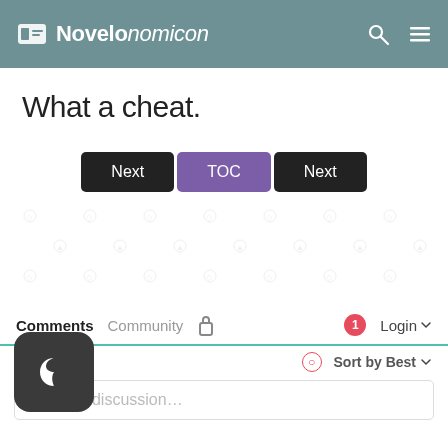Novelonomicon
What a cheat.
[Figure (screenshot): Navigation buttons row with 'Next', 'TOC', and 'Next' buttons]
[Figure (infographic): Watermark/background pattern area]
Comments  Community  [lock icon]  1  Login  Sort by Best  Start the discussion...